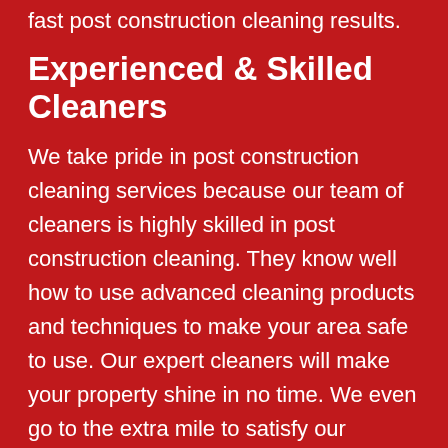fast post construction cleaning results.
Experienced & Skilled Cleaners
We take pride in post construction cleaning services because our team of cleaners is highly skilled in post construction cleaning. They know well how to use advanced cleaning products and techniques to make your area safe to use. Our expert cleaners will make your property shine in no time. We even go to the extra mile to satisfy our customers with our expert cleaning service. Once we are done with the cleaning, you are ready to move into your newly built building.